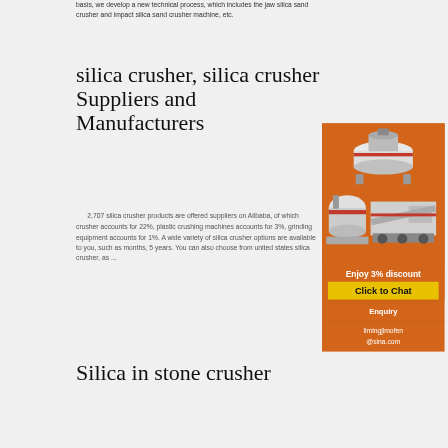basis, we develop a new technical process, which includes the jaw silica sand crusher and impact silica sand crusher machine, etc.
silica crusher, silica crusher Suppliers and Manufacturers
2,707 silica crusher products are offered suppliers on Alibaba, of which crusher accounts for 22%, plastic crushing machines accounts for 3%, grinding equipment accounts for 1%. A wide variety of silica crusher options are available to you, such as months, 5 years. You can also choose from united states silica crusher, as ...
[Figure (illustration): Orange advertisement panel with images of industrial crusher machines, 'Enjoy 3% discount' text, 'Click to Chat' yellow button, 'Enquiry' section, and email limingjlmofen@sina.com]
Silica in stone crusher